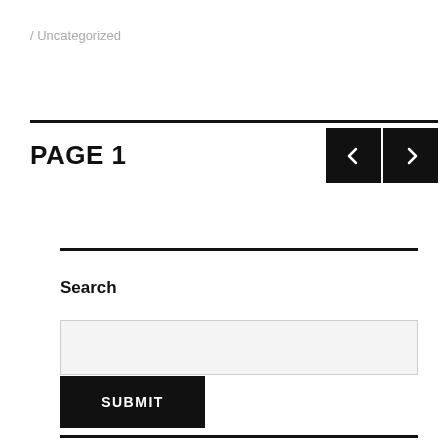/ Uncategorized
PAGE 1
Search
SUBMIT